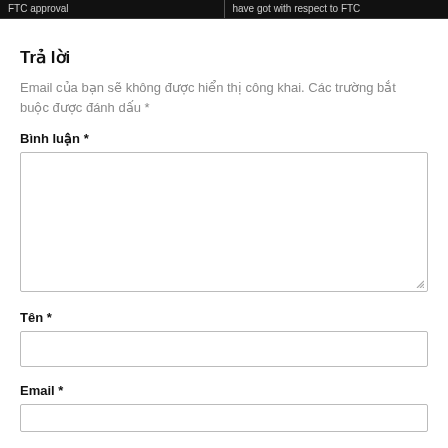FTC approval | have got with respect to FTC
Trả lời
Email của bạn sẽ không được hiển thị công khai. Các trường bắt buộc được đánh dấu *
Bình luận *
Tên *
Email *